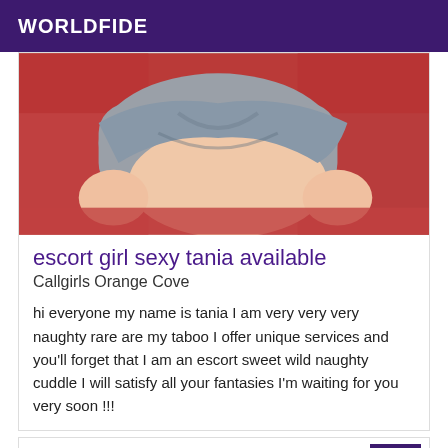WORLDFIDE
[Figure (photo): Photo placeholder representing escort listing image]
escort girl sexy tania available
Callgirls Orange Cove
hi everyone my name is tania I am very very very naughty rare are my taboo I offer unique services and you'll forget that I am an escort sweet wild naughty cuddle I will satisfy all your fantasies I'm waiting for you very soon !!!
VIP